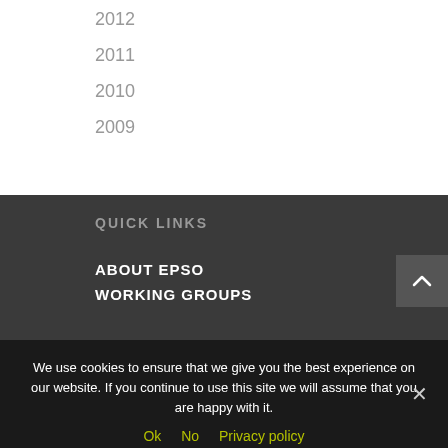2012
2011
2010
2009
QUICK LINKS
ABOUT EPSO
WORKING GROUPS
We use cookies to ensure that we give you the best experience on our website. If you continue to use this site we will assume that you are happy with it.
Ok   No   Privacy policy